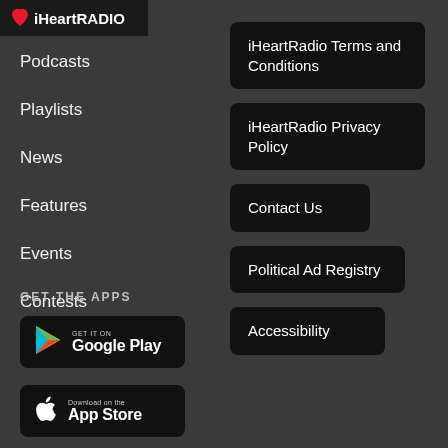[Figure (logo): iHeartRadio logo with red heart icon and white text on dark background]
Podcasts
Playlists
News
Features
Events
Contests
iHeartRadio Terms and Conditions
iHeartRadio Privacy Policy
Contact Us
Political Ad Registry
Accessibility
GET THE APPS
[Figure (logo): Get it on Google Play badge with colorful play triangle icon]
[Figure (logo): Download on the App Store badge with Apple logo]